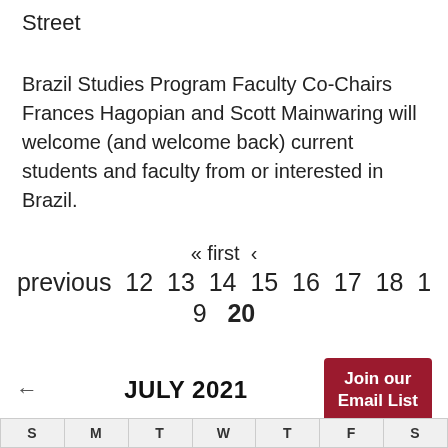Street
Brazil Studies Program Faculty Co-Chairs Frances Hagopian and Scott Mainwaring will welcome (and welcome back) current students and faculty from or interested in Brazil.
« first ‹ previous 12 13 14 15 16 17 18 19 20
← JULY 2021 Join our Email List
| S | M | T | W | T | F | S |
| --- | --- | --- | --- | --- | --- | --- |